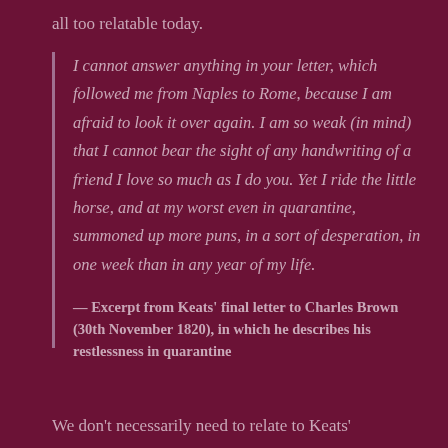all too relatable today.
I cannot answer anything in your letter, which followed me from Naples to Rome, because I am afraid to look it over again. I am so weak (in mind) that I cannot bear the sight of any handwriting of a friend I love so much as I do you. Yet I ride the little horse, and at my worst even in quarantine, summoned up more puns, in a sort of desperation, in one week than in any year of my life.
— Excerpt from Keats' final letter to Charles Brown (30th November 1820), in which he describes his restlessness in quarantine
We don't necessarily need to relate to Keats'